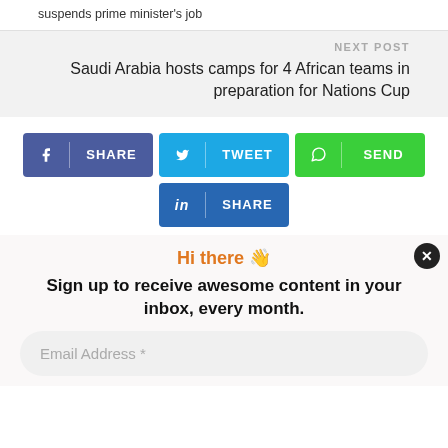suspends prime minister's job
NEXT POST
Saudi Arabia hosts camps for 4 African teams in preparation for Nations Cup
SHARE
TWEET
SEND
SHARE (LinkedIn)
Hi there 👋
Sign up to receive awesome content in your inbox, every month.
Email Address *